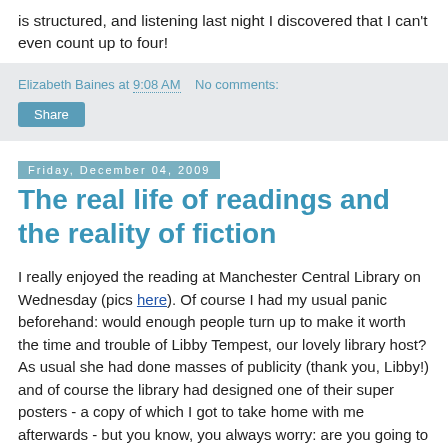is structured, and listening last night I discovered that I can't even count up to four!
Elizabeth Baines at 9:08 AM   No comments:
Share
Friday, December 04, 2009
The real life of readings and the reality of fiction
I really enjoyed the reading at Manchester Central Library on Wednesday (pics here). Of course I had my usual panic beforehand: would enough people turn up to make it worth the time and trouble of Libby Tempest, our lovely library host? As usual she had done masses of publicity (thank you, Libby!) and of course the library had designed one of their super posters - a copy of which I got to take home with me afterwards - but you know, you always worry: are you going to be the turn that doesn't attract the punters in spite of it all?